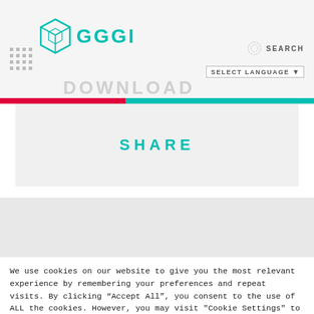[Figure (logo): GGGI logo with teal cube icon and teal lettering 'GGGI']
DOWNLOAD
SEARCH
SELECT LANGUAGE
SHARE
We use cookies on our website to give you the most relevant experience by remembering your preferences and repeat visits. By clicking “Accept All”, you consent to the use of ALL the cookies. However, you may visit "Cookie Settings" to provide a controlled consent.
Cookie Settings
Accept All
Reject All